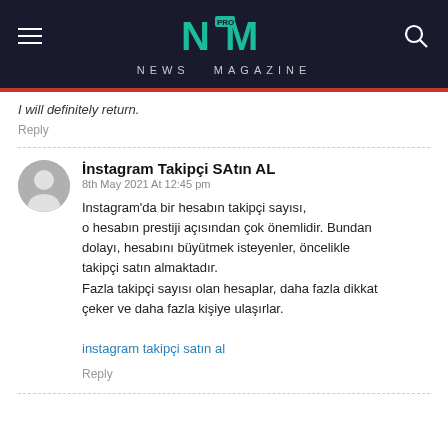NM PRO NEWS MAGAZINE
I will definitely return.
Reply
İnstagram Takipçi SAtın AL
8th May 2021 At 12:45 pm
Instagram'da bir hesabın takipçi sayısı, o hesabın prestiji açısından çok önemlidir. Bundan dolayı, hesabını büyütmek isteyenler, öncelikle takipçi satın almaktadır.
Fazla takipçi sayısı olan hesaplar, daha fazla dikkat çeker ve daha fazla kişiye ulaşırlar.
instagram takipçi satın al
Reply